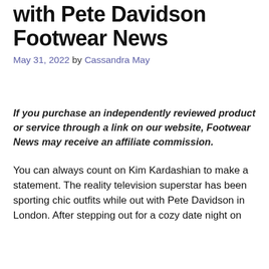with Pete Davidson Footwear News
May 31, 2022 by Cassandra May
If you purchase an independently reviewed product or service through a link on our website, Footwear News may receive an affiliate commission.
You can always count on Kim Kardashian to make a statement. The reality television superstar has been sporting chic outfits while out with Pete Davidson in London. After stepping out for a cozy date night on